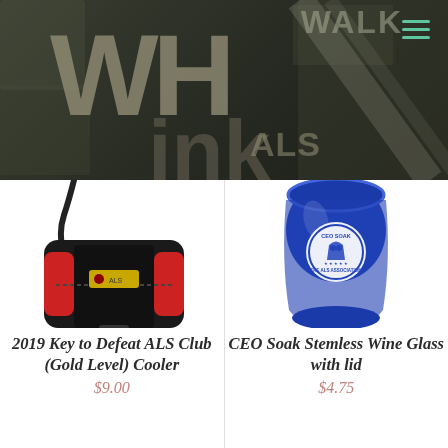WHink ALS Walk website header
[Figure (screenshot): Website header banner with dark overlay showing ALS Walk event branding. Large gray letters 'WH' and 'ink' form the logo. Text 'WALK' and 'ALS' partially visible in background. Teal hamburger menu icon in top right.]
[Figure (photo): Black and red cooler bag with shoulder strap and ALS Association logo label, partially cropped at top.]
2019 Key to Defeat ALS Club (Gold Level) Cooler
$9.00
[Figure (photo): Blue stemless wine glass with white circular CEO Soak / The ALS Association logo on it, viewed from above at an angle. Partially cropped at top.]
CEO Soak Stemless Wine Glass with lid
$4.75